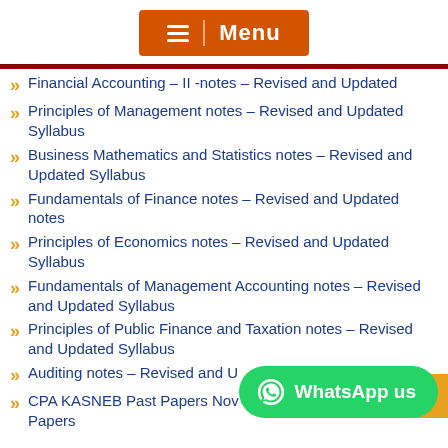[Figure (other): Orange menu button with hamburger icon and 'Menu' text]
Financial Accounting – II -notes – Revised and Updated
Principles of Management notes – Revised and Updated Syllabus
Business Mathematics and Statistics notes – Revised and Updated Syllabus
Fundamentals of Finance notes – Revised and Updated notes
Principles of Economics notes – Revised and Updated Syllabus
Fundamentals of Management Accounting notes – Revised and Updated Syllabus
Principles of Public Finance and Taxation notes – Revised and Updated Syllabus
Auditing notes – Revised and U[partially visible]
CPA KASNEB Past Papers Nov[partially visible] Papers